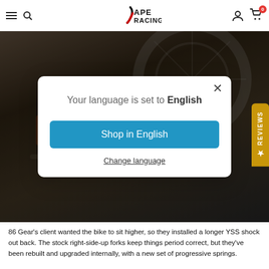APE RACING
[Figure (screenshot): Language selection modal overlay on Ape Racing website with motorcycle background image. Modal shows 'Your language is set to English' with a blue 'Shop in English' button and 'Change language' underlined link. A yellow Reviews tab is visible on the right edge.]
86 Gear's client wanted the bike to sit higher, so they installed a longer YSS shock out back. The stock right-side-up forks keep things period correct, but they've been rebuilt and upgraded internally, with a new set of progressive springs.